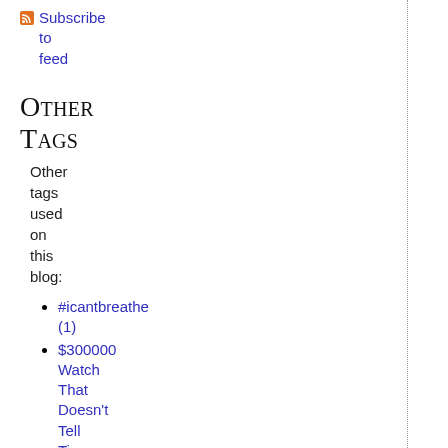Subscribe to feed
Other Tags
Other tags used on this blog:
#icantbreathe (1)
$300000 Watch That Doesn't Tell Time (1)